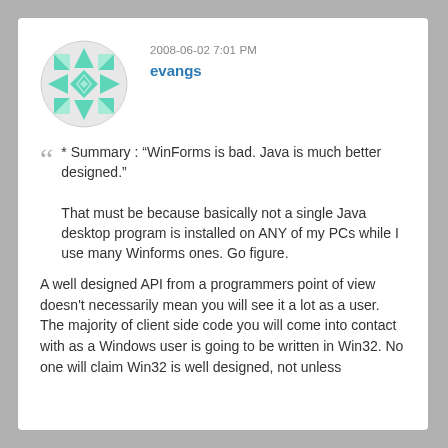[Figure (illustration): Circular avatar with a teal/mint geometric snowflake/star quilt pattern on a light gray background]
2008-06-02 7:01 PM
evangs
* Summary : “WinForms is bad. Java is much better designed.”

That must be because basically not a single Java desktop program is installed on ANY of my PCs while I use many Winforms ones. Go figure.
A well designed API from a programmers point of view doesn't necessarily mean you will see it a lot as a user. The majority of client side code you will come into contact with as a Windows user is going to be written in Win32. No one will claim Win32 is well designed, not unless